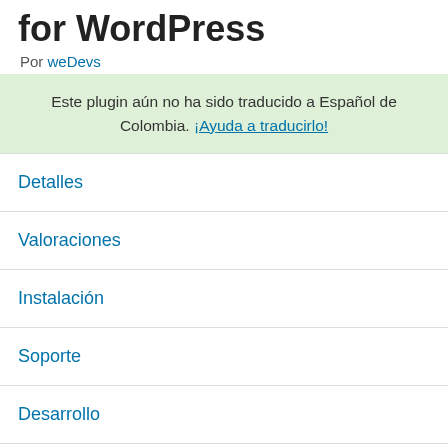for WordPress
Por weDevs
Este plugin aún no ha sido traducido a Español de Colombia. ¡Ayuda a traducirlo!
Detalles
Valoraciones
Instalación
Soporte
Desarrollo
Descripción
Create great looking documentation for your